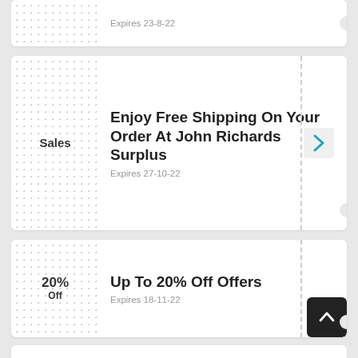Expires 23-8-22
Enjoy Free Shipping On Your Order At John Richards Surplus
Expires 27-10-22
Up To 20% Off Offers
Expires 18-11-22